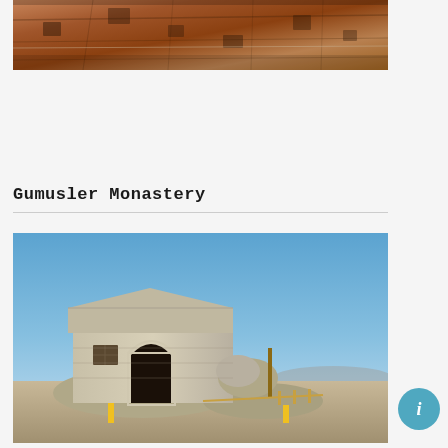[Figure (photo): Aerial or close-up view of ancient rock-cut architecture, showing carved stone surfaces with rectangular niches and openings in reddish-brown rock]
Gumusler Monastery
[Figure (photo): Exterior view of Gumusler Monastery building with stone walls, arched doorway, set against a clear blue sky on a rocky landscape with arid terrain in background]